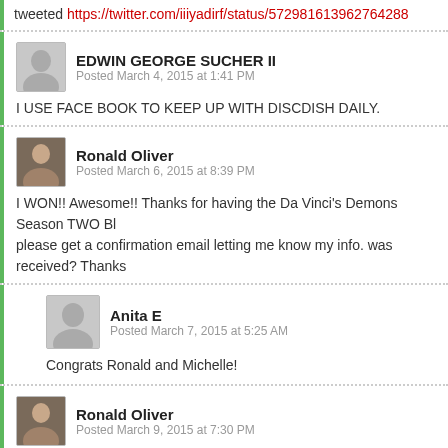tweeted https://twitter.com/iiiyadirf/status/572981613962764288
EDWIN GEORGE SUCHER II
Posted March 4, 2015 at 1:41 PM
I USE FACE BOOK TO KEEP UP WITH DISCDISH DAILY.
Ronald Oliver
Posted March 6, 2015 at 8:39 PM
I WON!! Awesome!! Thanks for having the Da Vinci's Demons Season TWO Bl please get a confirmation email letting me know my info. was received? Thanks
Anita E
Posted March 7, 2015 at 5:25 AM
Congrats Ronald and Michelle!
Ronald Oliver
Posted March 9, 2015 at 7:30 PM